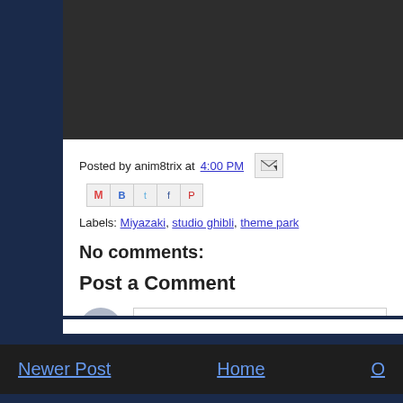[Figure (screenshot): Dark gray header/banner area at top of blog page]
Posted by anim8trix at 4:00 PM
Labels: Miyazaki, studio ghibli, theme park
No comments:
Post a Comment
[Figure (screenshot): Comment input area with avatar and Enter Comment placeholder]
Newer Post   Home   O...